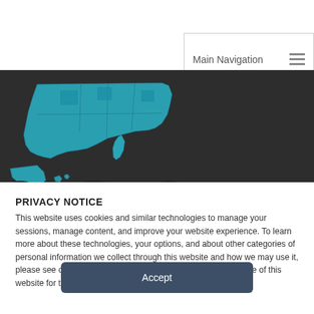Main Navigation
[Figure (screenshot): Dark banner with a teal/blue choropleth map of the United States including Alaska and Hawaii, showing county or state-level data shading.]
RECENT DATATRACE BLOG POSTS
PRIVACY NOTICE
This website uses cookies and similar technologies to manage your sessions, manage content, and improve your website experience. To learn more about these technologies, your options, and about other categories of personal information we collect through this website and how we may use it, please see our privacy policy. This notice is effective for your use of this website for the next 14 days.